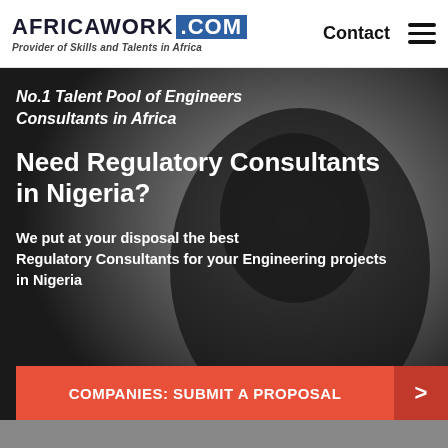AFRICAWORK .COM — Provider of Skills and Talents in Africa | Contact
No.1 Talent Pool of Engineers Consultants in Africa
Need Regulatory Consultants in Nigeria?
We put at your disposal the best Regulatory Consultants for your Engineering projects in Nigeria
COMPANIES: SUBMIT A PROPOSAL